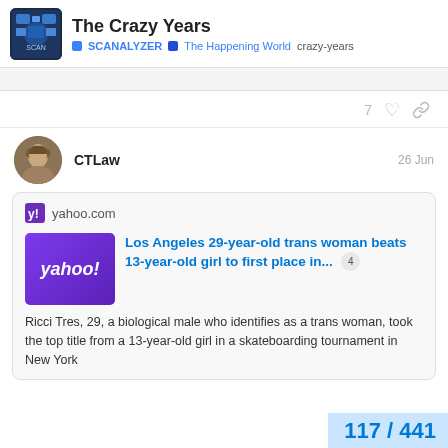The Crazy Years — SCANALYZER | The Happening World | crazy-years
7
CTLaw  26 Jun
[Figure (screenshot): Yahoo.com embedded link card showing article: 'Los Angeles 29-year-old trans woman beats 13-year-old girl to first place in...' with badge 4, and text: 'Ricci Tres, 29, a biological male who identifies as a trans woman, took the top title from a 13-year-old girl in a skateboarding tournament in New York']
117 / 441